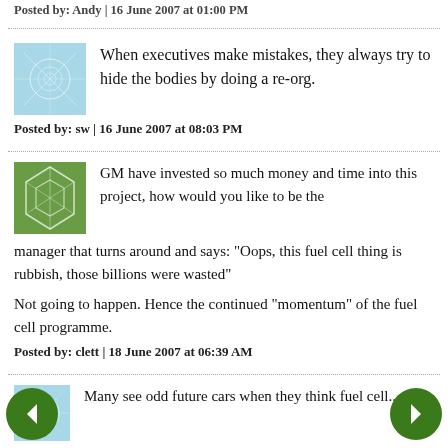Posted by: Andy | 16 June 2007 at 01:00 PM
When executives make mistakes, they always try to hide the bodies by doing a re-org.
Posted by: sw | 16 June 2007 at 08:03 PM
GM have invested so much money and time into this project, how would you like to be the manager that turns around and says: "Oops, this fuel cell thing is rubbish, those billions were wasted"

Not going to happen. Hence the continued "momentum" of the fuel cell programme.
Posted by: clett | 18 June 2007 at 06:39 AM
Many see odd future cars when they think fuel cell...